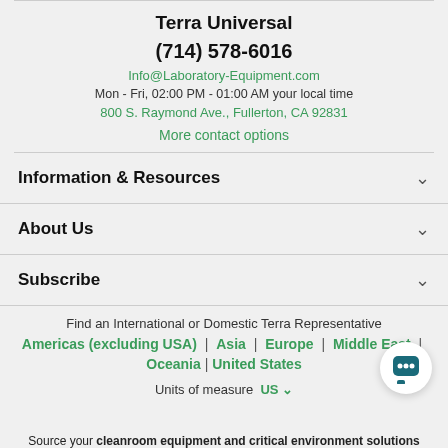Terra Universal
(714) 578-6016
Info@Laboratory-Equipment.com
Mon - Fri, 02:00 PM - 01:00 AM your local time
800 S. Raymond Ave., Fullerton, CA 92831
More contact options
Information & Resources
About Us
Subscribe
Find an International or Domestic Terra Representative
Americas (excluding USA) | Asia | Europe | Middle East | Oceania | United States
Units of measure US
Source your cleanroom equipment and critical environment solutions